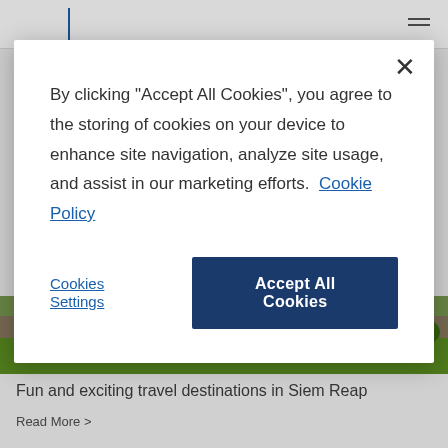[Figure (screenshot): Website screenshot showing a cookie consent modal dialog over a travel website page. The modal has a close X button, cookie consent text with a Cookie Policy link, a Cookies Settings link button, and an Accept All Cookies button. Below the modal is a photo strip showing a green lawn/park scene and text about Siem Reap travel destinations.]
By clicking "Accept All Cookies", you agree to the storing of cookies on your device to enhance site navigation, analyze site usage, and assist in our marketing efforts. Cookie Policy
Cookies Settings
Accept All Cookies
Fun and exciting travel destinations in Siem Reap
Read More >